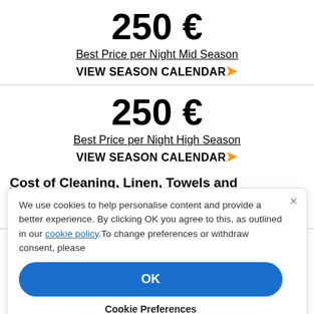250 €
Best Price per Night Mid Season
VIEW SEASON CALENDAR ❯
250 €
Best Price per Night High Season
VIEW SEASON CALENDAR ❯
Cost of Cleaning, Linen, Towels and Reception Service: 150 €
The total price, all inclusive, includes reception service...
We use cookies to help personalise content and provide a better experience. By clicking OK you agree to this, as outlined in our cookie policy.To change preferences or withdraw consent, please
OK
Cookie Preferences